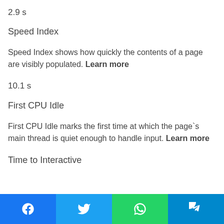2.9 s
Speed Index
Speed Index shows how quickly the contents of a page are visibly populated. Learn more
10.1 s
First CPU Idle
First CPU Idle marks the first time at which the page`s main thread is quiet enough to handle input. Learn more
Time to Interactive
Share buttons: Facebook, Twitter, WhatsApp, Telegram